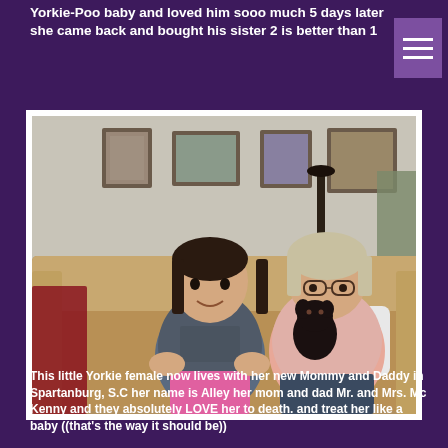Yorkie-Poo baby and loved him sooo much 5 days later she came back and bought his sister 2 is better than 1
[Figure (photo): A young girl and an older woman sitting on a tan/brown couch holding a small black dog. Several framed photos hang on the wall behind them. The girl wears a grey shirt and pink shorts, the woman wears a pink top.]
This little Yorkie female now lives with her new Mommy and Daddy in Spartanburg, S.C her name is Alley her mom and dad Mr. and Mrs. Mc Kenny and they absolutely LOVE her to death. and treat her like a baby ((that's the way it should be))